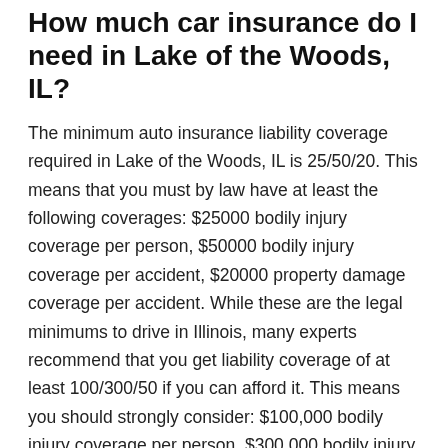How much car insurance do I need in Lake of the Woods, IL?
The minimum auto insurance liability coverage required in Lake of the Woods, IL is 25/50/20. This means that you must by law have at least the following coverages: $25000 bodily injury coverage per person, $50000 bodily injury coverage per accident, $20000 property damage coverage per accident. While these are the legal minimums to drive in Illinois, many experts recommend that you get liability coverage of at least 100/300/50 if you can afford it. This means you should strongly consider: $100,000 bodily injury coverage per person, $300,000 bodily injury coverage per